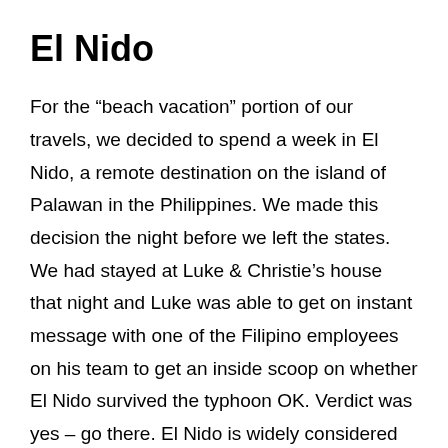El Nido
For the “beach vacation” portion of our travels, we decided to spend a week in El Nido, a remote destination on the island of Palawan in the Philippines. We made this decision the night before we left the states. We had stayed at Luke & Christie’s house that night and Luke was able to get on instant message with one of the Filipino employees on his team to get an inside scoop on whether El Nido survived the typhoon OK. Verdict was yes – go there. El Nido is widely considered the most beautiful and pristine place in the Philippines. It consists of 45 islands and inlets and its remoteness has helped preserve its beauty. Getting there requires a flight to the city of Puerto Princesa, followed by a 5+ hour private van ride (or 7+ hour bus ride) on a very windy road. Judging by the